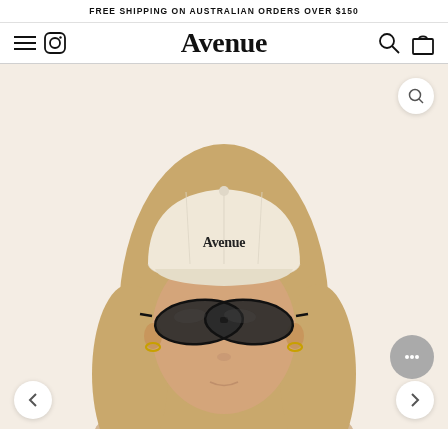FREE SHIPPING ON AUSTRALIAN ORDERS OVER $150
Avenue
[Figure (photo): Woman wearing a cream/off-white Avenue branded baseball cap and dark oval sunglasses, with gold earrings, against a light cream background. The Avenue logo is embroidered on the cap.]